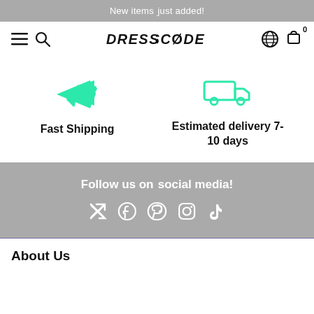New items just added!
[Figure (screenshot): Navigation bar with hamburger menu, search icon, DRESSCODE logo, globe icon, and cart icon with badge 0]
[Figure (infographic): Two feature icons: airplane (Fast Shipping) and delivery truck (Estimated delivery 7-10 days)]
Fast Shipping
Estimated delivery 7-10 days
Follow us on social media!
[Figure (infographic): Social media icons: Twitter, Facebook, Pinterest, Instagram, TikTok]
About Us